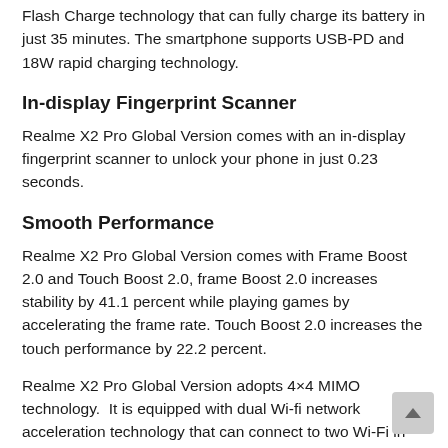Flash Charge technology that can fully charge its battery in just 35 minutes. The smartphone supports USB-PD and 18W rapid charging technology.
In-display Fingerprint Scanner
Realme X2 Pro Global Version comes with an in-display fingerprint scanner to unlock your phone in just 0.23 seconds.
Smooth Performance
Realme X2 Pro Global Version comes with Frame Boost 2.0 and Touch Boost 2.0, frame Boost 2.0 increases stability by 41.1 percent while playing games by accelerating the frame rate. Touch Boost 2.0 increases the touch performance by 22.2 percent.
Realme X2 Pro Global Version adopts 4×4 MIMO technology.  It is equipped with dual Wi-fi network acceleration technology that can connect to two Wi-Fi in